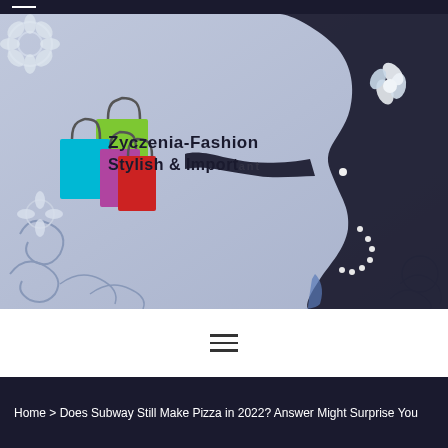[Figure (illustration): Fashion blog banner with a female silhouette holding shopping bags against a floral background. Text overlay reads 'Zyczenia-Fashion Stylish & Important']
[Figure (other): Hamburger menu icon (three horizontal lines) on white background]
Home > Does Subway Still Make Pizza in 2022? Answer Might Surprise You